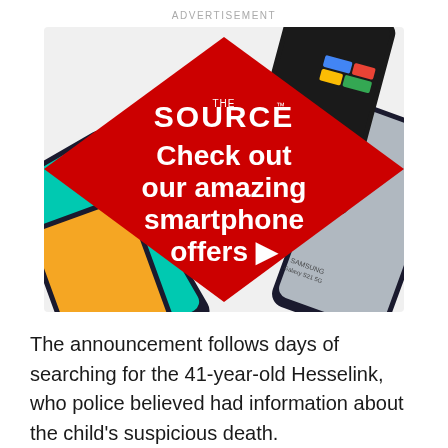ADVERTISEMENT
[Figure (illustration): The Source retail store advertisement showing multiple Samsung and Google smartphones arranged around a red diamond shape with white text: 'THE SOURCE - Check out our amazing smartphone offers ▶'. Phones shown include Samsung Galaxy A52 5G, Samsung Galaxy S21 5G, and a phone with Google logo colors.]
The announcement follows days of searching for the 41-year-old Hesselink, who police believed had information about the child's suspicious death.